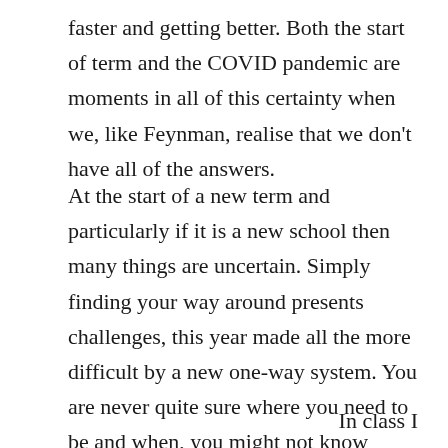faster and getting better. Both the start of term and the COVID pandemic are moments in all of this certainty when we, like Feynman, realise that we don't have all of the answers.
At the start of a new term and particularly if it is a new school then many things are uncertain. Simply finding your way around presents challenges, this year made all the more difficult by a new one-way system. You are never quite sure where you need to be and when, you might not know exactly what is expected of you. Happily, if my less than scientific observations are true, then those who were new a couple of weeks ago now seem comfortably at home.
In class I